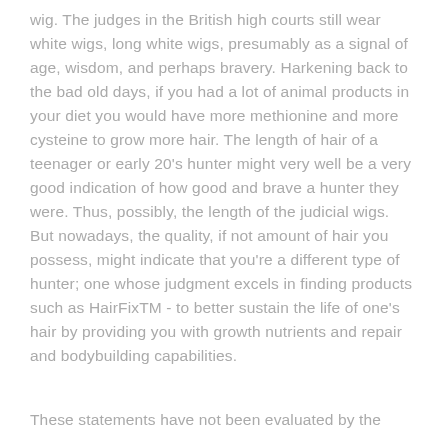wig. The judges in the British high courts still wear white wigs, long white wigs, presumably as a signal of age, wisdom, and perhaps bravery. Harkening back to the bad old days, if you had a lot of animal products in your diet you would have more methionine and more cysteine to grow more hair. The length of hair of a teenager or early 20's hunter might very well be a very good indication of how good and brave a hunter they were. Thus, possibly, the length of the judicial wigs.
But nowadays, the quality, if not amount of hair you possess, might indicate that you're a different type of hunter; one whose judgment excels in finding products such as HairFixTM - to better sustain the life of one's hair by providing you with growth nutrients and repair and bodybuilding capabilities.
These statements have not been evaluated by the